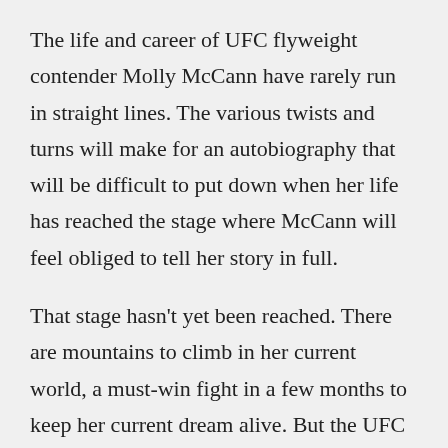The life and career of UFC flyweight contender Molly McCann have rarely run in straight lines. The various twists and turns will make for an autobiography that will be difficult to put down when her life has reached the stage where McCann will feel obliged to tell her story in full.
That stage hasn't yet been reached. There are mountains to climb in her current world, a must-win fight in a few months to keep her current dream alive. But the UFC is just another chapter in her engrossing life. There will be at some point an old world to re-enter, a new one to embrace and conquer after that. The ambitions of Molly McCann seemingly have no limits.
McCann can also now quite rightly call herself an